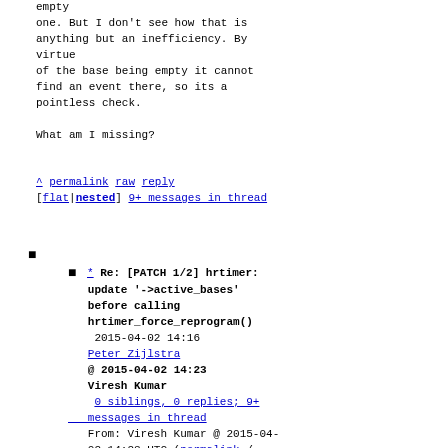empty
one. But I don't see how that is
anything but an inefficiency. By
virtue
of the base being empty it cannot
find an event there, so its a
pointless check.

What am I missing?
^ permalink raw reply [flat|nested] 9+ messages in thread
* Re: [PATCH 1/2] hrtimer: update '->active_bases' before calling hrtimer_force_reprogram()
2015-04-02 14:16
Peter Zijlstra
@ 2015-04-02 14:23
Viresh Kumar
0 siblings, 0 replies; 9+ messages in thread
From: Viresh Kumar @ 2015-04-02 14:23 UTC (permalink / raw)
To: Peter Zijlstra